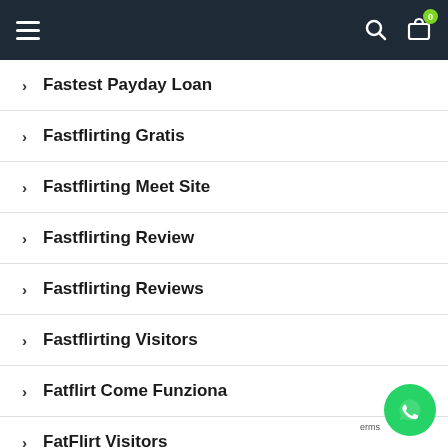Navigation bar with hamburger menu, search icon, and cart with badge 0
Fastest Payday Loan
Fastflirting Gratis
Fastflirting Meet Site
Fastflirting Review
Fastflirting Reviews
Fastflirting Visitors
Fatflirt Come Funziona
FatFlirt Visitors